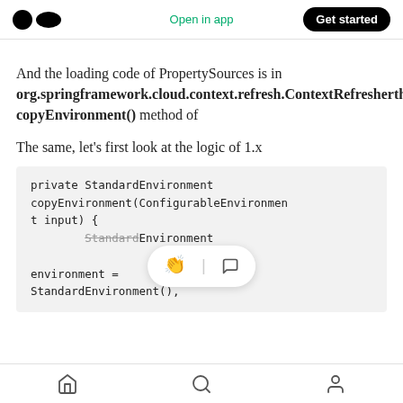Open in app | Get started
And the loading code of PropertySources is in org.springframework.cloud.context.refresh.ContextRefresherthe copyEnvironment() method of
The same, let’s first look at the logic of 1.x
[Figure (screenshot): Code block showing: private StandardEnvironment copyEnvironment(ConfigurableEnvironment input) { StandardEnvironment environment = new StandardEnvironment(); with a tooltip overlay showing clap and comment icons]
Home | Search | Profile